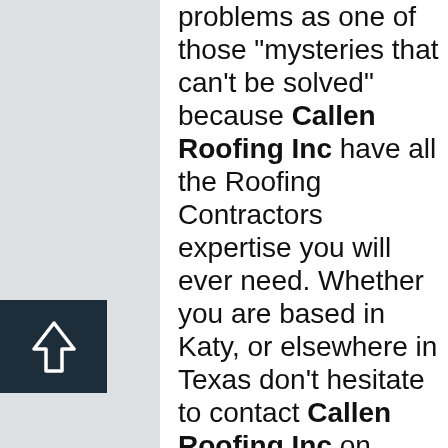problems as one of those "mysteries that can't be solved" because Callen Roofing Inc have all the Roofing Contractors expertise you will ever need. Whether you are based in Katy, or elsewhere in Texas don't hesitate to contact Callen Roofing Inc on
[Figure (other): Back to top button: dark navy square with an upward arrow icon]